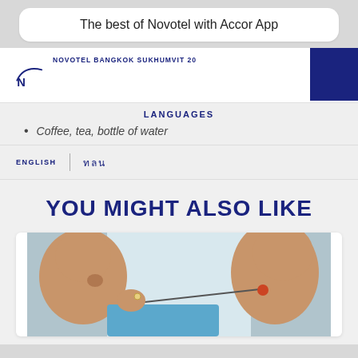The best of Novotel with Accor App
NOVOTEL BANGKOK SUKHUMVIT 20
LANGUAGES
Coffee, tea, bottle of water
ENGLISH | ไทย
YOU MIGHT ALSO LIKE
[Figure (photo): Two people drinking beverages, close-up of faces, one holding a straw to their mouth]